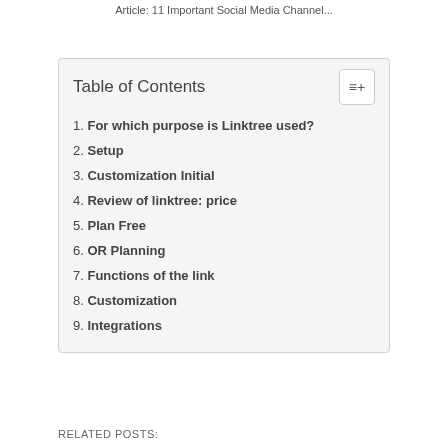Article: 11 Important Social Media Channel...
1. For which purpose is Linktree used?
2. Setup
3. Customization Initial
4. Review of linktree: price
5. Plan Free
6. OR Planning
7. Functions of the link
8. Customization
9. Integrations
RELATED POSTS: